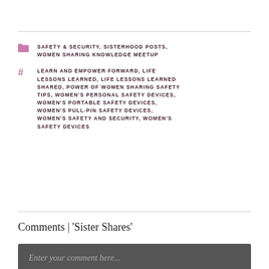SAFETY & SECURITY, SISTERHOOD POSTS, WOMEN SHARING KNOWLEDGE MEETUP
LEARN AND EMPOWER FORWARD, LIFE LESSONS LEARNED, LIFE LESSONS LEARNED SHARED, POWER OF WOMEN SHARING SAFETY TIPS, WOMEN'S PERSONAL SAFETY DEVICES, WOMEN'S PORTABLE SAFETY DEVICES, WOMEN'S PULL-PIN SAFETY DEVICES, WOMEN'S SAFETY AND SECURITY, WOMEN'S SAFETY DEVICES
Comments | 'Sister Shares'
Enter your comment here...